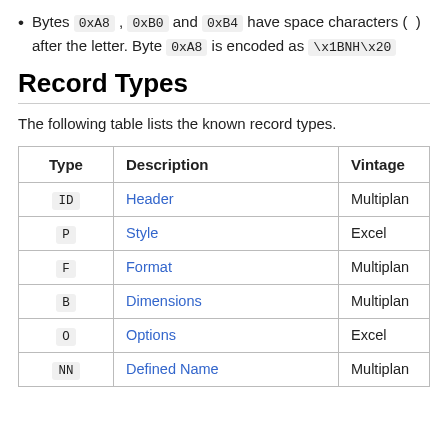Bytes 0xA8, 0xB0 and 0xB4 have space characters ( ) after the letter. Byte 0xA8 is encoded as \x1BNH\x20
Record Types
The following table lists the known record types.
| Type | Description | Vintage |
| --- | --- | --- |
| ID | Header | Multiplan |
| P | Style | Excel |
| F | Format | Multiplan |
| B | Dimensions | Multiplan |
| O | Options | Excel |
| NN | Defined Name | Multiplan |